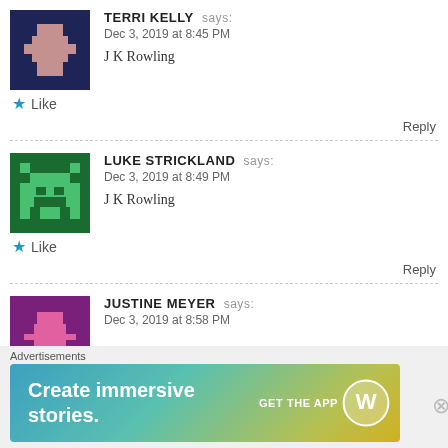[Figure (illustration): Pixel art avatar for Terri Kelly: dark navy blue background with pink/mauve cross shape]
TERRI KELLY says:
Dec 3, 2019 at 8:45 PM

J K Rowling
Like
Reply
[Figure (illustration): Pixel art avatar for Luke Strickland: dark green background with lighter green Space Invader-style alien shape]
LUKE STRICKLAND says:
Dec 3, 2019 at 8:49 PM

J K Rowling
Like
Reply
[Figure (illustration): Pixel art avatar for Justine Meyer: purple/magenta background with pink cross shape]
JUSTINE MEYER says:
Dec 3, 2019 at 8:58 PM
Advertisements
[Figure (other): WordPress advertisement banner: gradient teal-green-yellow background with text 'Create immersive stories.' and 'GET THE APP' with WordPress logo]